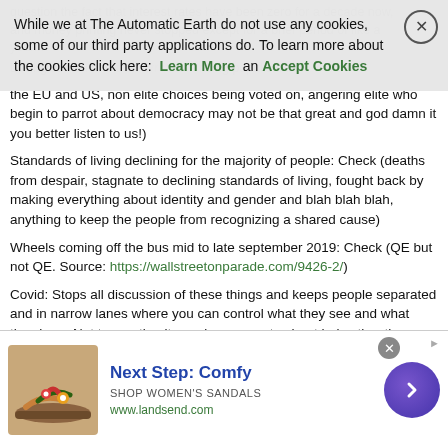question the fact that interest rates have been zero for a decade now, and money printing never stopped except for a brief period of like a year...
Losing control of the narrative... rising populism in the EU and US, non elite choices being voted on, angering elite who begin to parrot about democracy may not be that great and god damn it you better listen to us!
Standards of living declining for the majority of people: Check (deaths from despair, stagnate to declining standards of living, fought back by making everything about identity and gender and blah blah blah, anything to keep the people from recognizing a shared cause)
Wheels coming off the bus mid to late september 2019: Check (QE but not QE. Source: https://wallstreetonparade.com/9426-2/)
Covid: Stops all discussion of these things and keeps people separated and in narrow lanes where you can control what they see and what they hear. Not to mention its so damn easy to shoot holes thru the narrative they're presenting, but still people cling to it.
Cookie banner: While we at The Automatic Earth do not use any cookies, some of our third party applications do. To learn more about the cookies click here: Learn More and Accept Cookies
[Figure (other): Advertisement banner for Lands' End showing a women's sandal with text 'Next Step: Comfy', 'SHOP WOMEN'S SANDALS', 'www.landsend.com' and a purple circular arrow button]